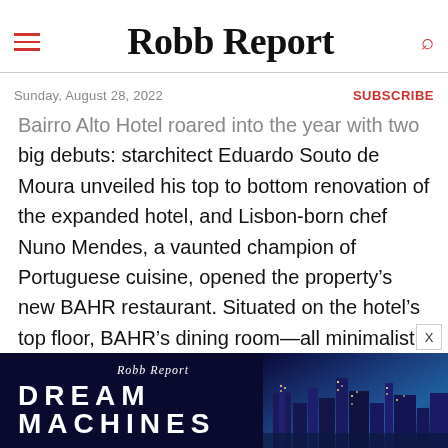Robb Report
Sunday, August 28, 2022 | SUBSCRIBE
Bairro Alto Hotel roared into the year with two big debuts: starchitect Eduardo Souto de Moura unveiled his top to bottom renovation of the expanded hotel, and Lisbon-born chef Nuno Mendes, a vaunted champion of Portuguese cuisine, opened the property’s new BAHR restaurant. Situated on the hotel’s top floor, BAHR’s dining room—all minimalist tranquility and brown leather banquettes—is framed by an epic terrace where diners can swill cocktails and consider the menu while scanning the hills of the posh Chiado district. There’s a lot to consider.
[Figure (other): Robb Report Dream Machines advertisement banner with city night skyline]